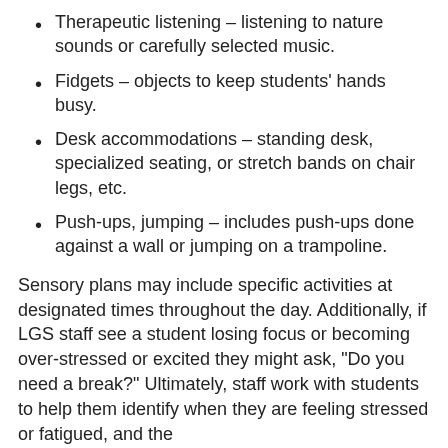Therapeutic listening – listening to nature sounds or carefully selected music.
Fidgets – objects to keep students' hands busy.
Desk accommodations – standing desk, specialized seating, or stretch bands on chair legs, etc.
Push-ups, jumping – includes push-ups done against a wall or jumping on a trampoline.
Sensory plans may include specific activities at designated times throughout the day. Additionally, if LGS staff see a student losing focus or becoming over-stressed or excited they might ask, “Do you need a break?” Ultimately, staff work with students to help them identify when they are feeling stressed or fatigued, and the